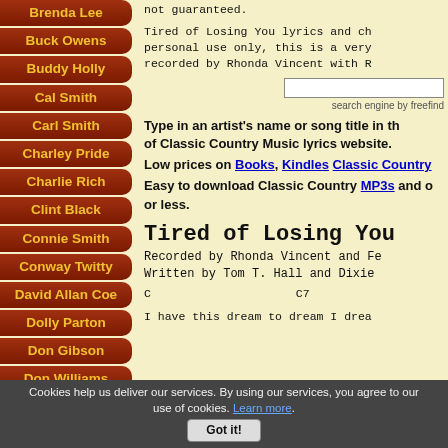Brenda Lee
Buck Owens
Buddy Holly
Cal Smith
Carl Smith
Charley Pride
Charlie Rich
Clint Black
Connie Smith
Conway Twitty
David Allan Coe
Dolly Parton
Don Gibson
Don Williams
Dwight Yoakam
not guaranteed.
Tired of Losing You lyrics and ch personal use only, this is a very recorded by Rhonda Vincent with R
search engine by freefind
Type in an artist's name or song title in th of Classic Country Music lyrics website.
Low prices on Books, Kindles Classic Country
Easy to download Classic Country MP3s and o or less.
Tired of Losing You
Recorded by Rhonda Vincent and Fe Written by Tom T. Hall and Dixie
C                    C7
I have this dream to dream I drea
Cookies help us deliver our services. By using our services, you agree to our use of cookies. Learn more. Got it!